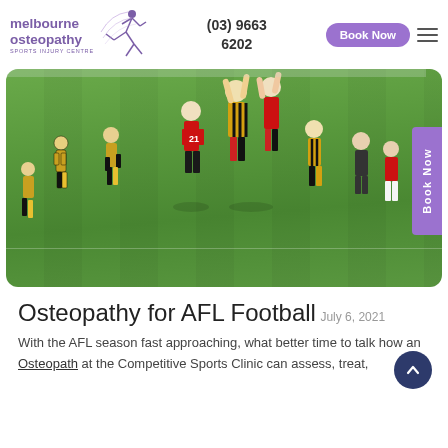melbourne osteopathy sports injury centre | (03) 9663 6202 | Book Now
[Figure (photo): AFL football match in progress on a green oval field. Multiple players in yellow/black Hawthorn stripes and red/black Essendon kits contest a ball in the air, arms outstretched. A purple 'Book Now' tab is on the right edge of the image.]
Osteopathy for AFL Football
July 6, 2021
With the AFL season fast approaching, what better time to talk how an Osteopath at the Competitive Sports Clinic can assess, treat,